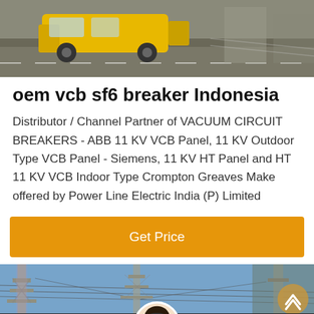[Figure (photo): Top banner photo showing construction/electrical equipment including a yellow vehicle on a road surface]
oem vcb sf6 breaker Indonesia
Distributor / Channel Partner of VACUUM CIRCUIT BREAKERS - ABB 11 KV VCB Panel, 11 KV Outdoor Type VCB Panel - Siemens, 11 KV HT Panel and HT 11 KV VCB Indoor Type Crompton Greaves Make offered by Power Line Electric India (P) Limited
[Figure (infographic): Orange/amber Get Price button]
[Figure (photo): Bottom banner photo showing electrical power transmission towers/pylons against a blue sky, with a customer support agent avatar and chat bar overlay]